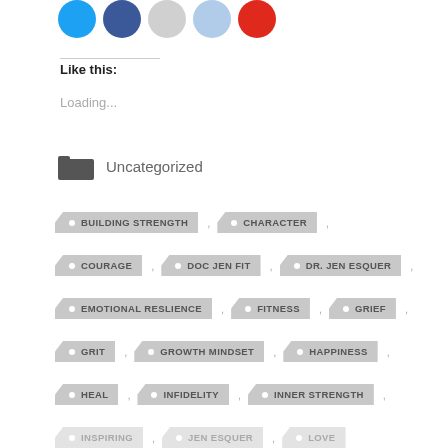[Figure (infographic): Social sharing icons: blue circle, dark blue circle, gray circle, light blue circle, red circle]
Like this:
Loading...
Uncategorized
BUILDING STRENGTH
CHARACTER
COURAGE
DOC JEN FIT
DR. JEN ESQUER
EMOTIONAL RESLIENCE
FITNESS
GRIEF
GRIT
GROWTH MINDSET
HAPPINESS
HEAL
INFIDELITY
INNER STRENGTH
INSPIRING
JEN ESQUER
LOVE